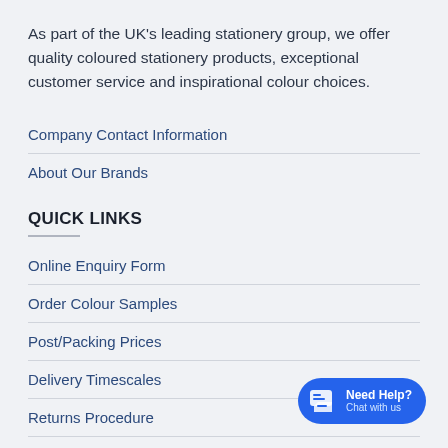As part of the UK's leading stationery group, we offer quality coloured stationery products, exceptional customer service and inspirational colour choices.
Company Contact Information
About Our Brands
QUICK LINKS
Online Enquiry Form
Order Colour Samples
Post/Packing Prices
Delivery Timescales
Returns Procedure